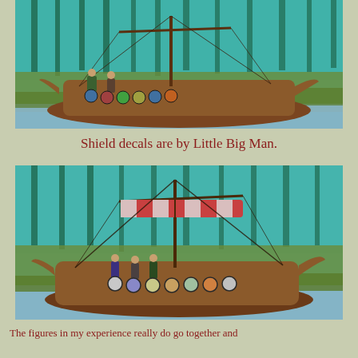[Figure (photo): Miniature Viking longship model with painted warriors holding shields, mast with rigging, on a diorama base with grass and blue water. Trees and green landscape in background.]
Shield decals are by Little Big Man.
[Figure (photo): Another angle of a miniature Viking longship model with warriors, red-and-white striped sail furled, shields along the side, on a diorama base. Trees visible in the blurred background.]
The figures in my experience really do go together and